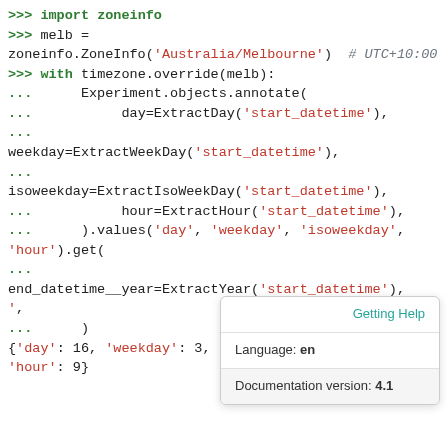[Figure (screenshot): Python interactive shell code snippet showing zoneinfo and timezone.override usage with Experiment.objects.annotate() call, alongside a 'Getting Help' tooltip panel showing Language: en and Documentation version: 4.1]